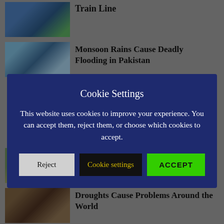[Figure (screenshot): News website background showing articles with thumbnail images. Top article shows a blue hydrogen-powered train. Second article about Monsoon Rains Cause Deadly Flooding in Pakistan. Third partial article about a Service with a safari landscape. Fourth article about Droughts Cause Problems Around the World.]
Cookie Settings
This website uses cookies to improve your experience. You can accept them, reject them, or choose which cookies to accept.
Reject
Cookie settings
ACCEPT